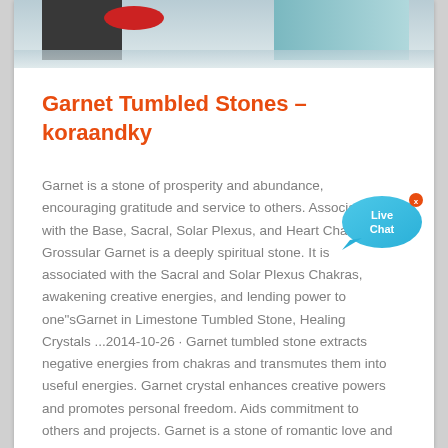[Figure (photo): Partial view of items on a surface — dark objects with red and teal/cyan coloring visible at the top of the page crop]
Garnet Tumbled Stones – koraandky
Garnet is a stone of prosperity and abundance, encouraging gratitude and service to others. Associated with the Base, Sacral, Solar Plexus, and Heart Chakras, Grossular Garnet is a deeply spiritual stone. It is associated with the Sacral and Solar Plexus Chakras, awakening creative energies, and lending power to one"sGarnet in Limestone Tumbled Stone, Healing Crystals ...2014-10-26 · Garnet tumbled stone extracts negative energies from chakras and transmutes them into useful energies. Garnet crystal enhances creative powers and promotes personal freedom. Aids commitment to others and projects. Garnet is a stone of romantic love and passion. It is said that garnet enhances emotions in a positive way, and also be quite calming.
[Figure (illustration): Live Chat speech bubble widget in cyan/blue color with white text 'Live Chat' and a red close button]